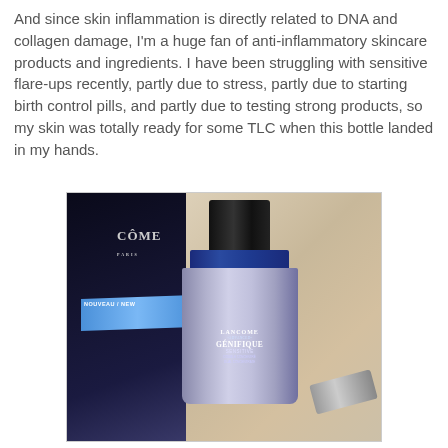And since skin inflammation is directly related to DNA and collagen damage, I'm a huge fan of anti-inflammatory skincare products and ingredients. I have been struggling with sensitive flare-ups recently, partly due to stress, partly due to starting birth control pills, and partly due to testing strong products, so my skin was totally ready for some TLC when this bottle landed in my hands.
[Figure (photo): Photo of Lancôme Advanced Génifique Sensitive Dual Concentrate serum bottle next to its dark navy blue box packaging on a beige/cream surface. The box shows 'LANCOME PARIS' and 'NOUVEAU/NEW' text with a blue stripe. The bottle has a black cap, navy blue collar, and glass body with white label text reading 'LANCOME -ADVANCED- GÉNIFIQUE SENSITIVE DOUBLE CONCENTRÉ DUAL CONCENTRATE'.]